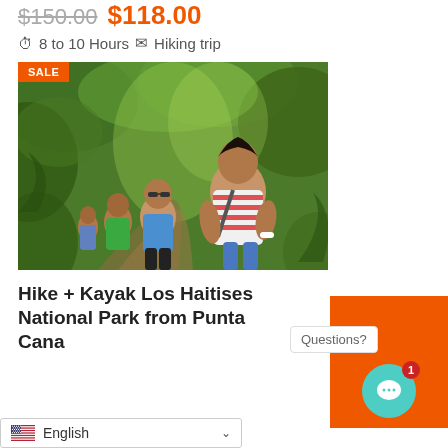$150.00  $118.00
8 to 10 Hours  Hiking trip
[Figure (photo): Group of hikers walking along a forest trail through dense green vegetation. A young man in a red-striped tank top leads the group in the foreground. A SALE badge appears in the upper-left corner of the image.]
Hike + Kayak Los Haitises National Park from Punta Cana
Questions?
18.00
English